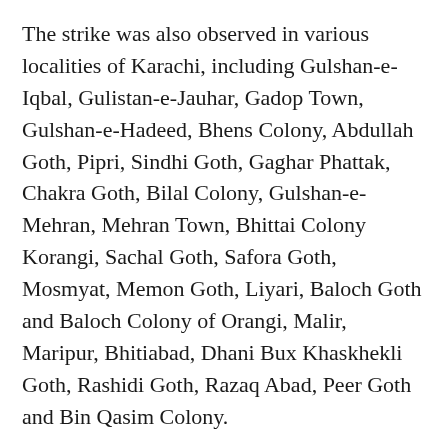The strike was also observed in various localities of Karachi, including Gulshan-e-Iqbal, Gulistan-e-Jauhar, Gadop Town, Gulshan-e-Hadeed, Bhens Colony, Abdullah Goth, Pipri, Sindhi Goth, Gaghar Phattak, Chakra Goth, Bilal Colony, Gulshan-e-Mehran, Mehran Town, Bhittai Colony Korangi, Sachal Goth, Safora Goth, Mosmyat, Memon Goth, Liyari, Baloch Goth and Baloch Colony of Orangi, Malir, Maripur, Bhitiabad, Dhani Bux Khaskhekli Goth, Rashidi Goth, Razaq Abad, Peer Goth and Bin Qasim Colony.
Workers and supporters of the nationalist parties staged rallies and sit-ins at several places, including Indus and national highways, Sehwan Bypass, Khairpur Bypass, Rohiri Bypass, Larkana-Khairpur Bridge Bypass, Faiz Ganj and Hyderabad.
Meanwhile, SBC convener Syed Jalal Mehmood Shah said that the people had given their verdict against the amendment and it was not acceptable to them in any shape. He appreciated